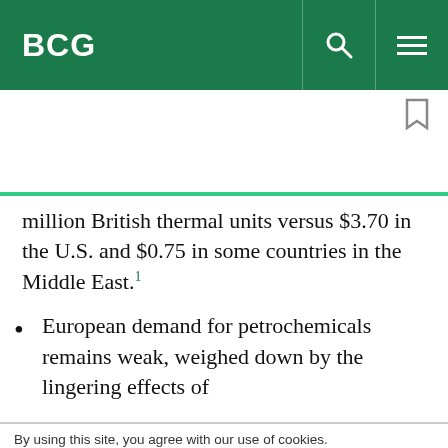BCG
million British thermal units versus $3.70 in the U.S. and $0.75 in some countries in the Middle East.¹
European demand for petrochemicals remains weak, weighed down by the lingering effects of
By using this site, you agree with our use of cookies.
I consent to cookies
Want to know more?
Read our Cookie Policy